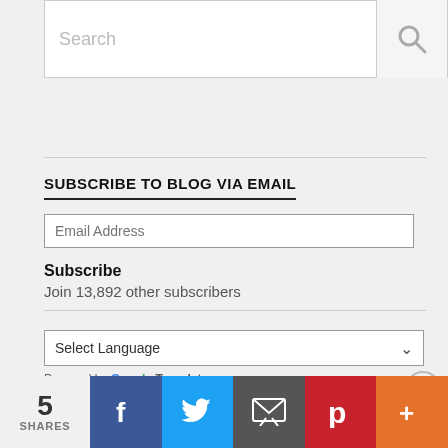[Figure (screenshot): Search input box with magnifying glass icon]
SUBSCRIBE TO BLOG VIA EMAIL
Email Address
Subscribe
Join 13,892 other subscribers
[Figure (screenshot): Select Language dropdown with chevron]
Powered by Google Translate
Advertisements
[Figure (photo): Advertisement banner showing pizza image]
5 SHARES | Facebook | Twitter | Email | Pinterest | More